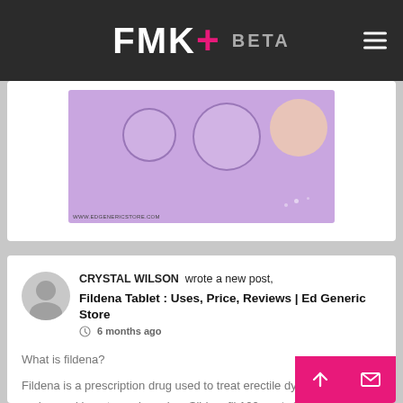FMK+ BETA
[Figure (screenshot): Purple banner image with decorative circles and URL www.edgenericstore.com]
CRYSTAL WILSON wrote a new post,
Fildena Tablet : Uses, Price, Reviews | Ed Generic Store
6 months ago
What is fildena?
Fildena is a prescription drug used to treat erectile dysfunction (ED) and sexual impotence in males. Sildenafil 100 mg is its generic name. Sildenafil citrate works